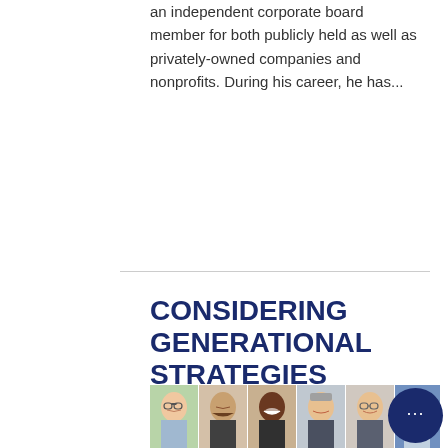an independent corporate board member for both publicly held as well as privately-owned companies and nonprofits.  During his career, he has...
Read More »
CONSIDERING GENERATIONAL STRATEGIES
[Figure (photo): A horizontal strip of headshots showing six men of varying ages and backgrounds, posed for professional photos.]